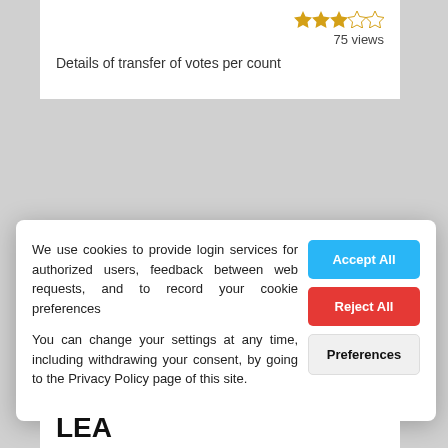[Figure (other): 3 out of 5 gold stars rating]
75 views
Details of transfer of votes per count
Local Election Count Results 2019 - Greystones LEA
We use cookies to provide login services for authorized users, feedback between web requests, and to record your cookie preferences
You can change your settings at any time, including withdrawing your consent, by going to the Privacy Policy page of this site.
LEA